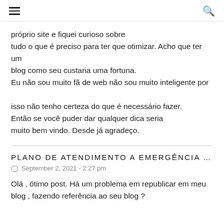≡ [hamburger menu] | [search icon]
próprio site e fiquei curioso sobre tudo o que é preciso para ter que otimizar. Acho que ter um blog como seu custaria uma fortuna. Eu não sou muito fã de web não sou muito inteligente por isso não tenho certeza do que é necessário fazer. Então se você puder dar qualquer dica seria muito bem vindo. Desde já agradeço.
PLANO DE ATENDIMENTO A EMERGÊNCIA VALE
September 2, 2021 - 2:27 pm
Olá , ótimo post. Há um problema em republicar em meu blog , fazendo referência ao seu blog ?